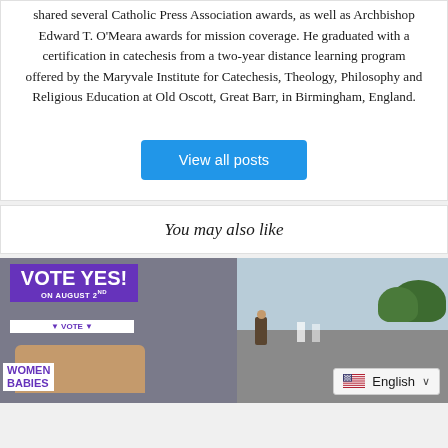shared several Catholic Press Association awards, as well as Archbishop Edward T. O'Meara awards for mission coverage. He graduated with a certification in catechesis from a two-year distance learning program offered by the Maryvale Institute for Catechesis, Theology, Philosophy and Religious Education at Old Oscott, Great Barr, in Birmingham, England.
View all posts
You may also like
[Figure (photo): A person holding a purple 'VOTE YES! ON AUGUST 2ND' sign, with another sign reading 'WOMEN BABIES' visible. In the background on the right, a person stands near a road with trees.]
English